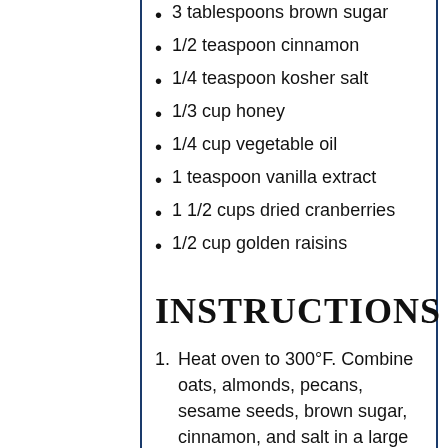3 tablespoons brown sugar
1/2 teaspoon cinnamon
1/4 teaspoon kosher salt
1/3 cup honey
1/4 cup vegetable oil
1 teaspoon vanilla extract
1 1/2 cups dried cranberries
1/2 cup golden raisins
INSTRUCTIONS
Heat oven to 300°F. Combine oats, almonds, pecans, sesame seeds, brown sugar, cinnamon, and salt in a large bowl. In a small bowl combine honey, oil, and vanilla. Add oil mixture to oats and toss to coat. Use your hands to make sure
combine honey, oil, and vanilla. Add oil mixture to oats and toss to coat. Use your hands to make sure